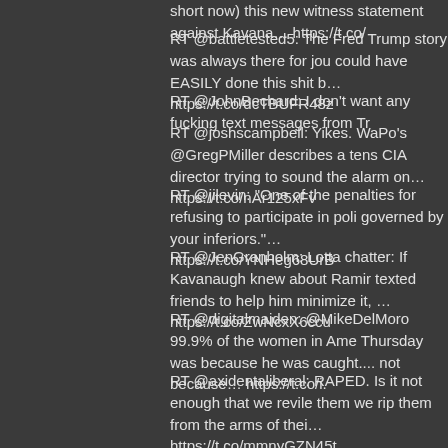short now) this new witness statement against Kavana… https://t.co/
RT @battletested5: The Fred Trump story was always there for journalists... could have EASILY done this shit b… https://t.co/dcTBUFR48z
RT @JohnBechard: I don't want any fucking text messages from Tr
RT @joshscampbell: Yikes. WaPo's @GregPMiller describes a tens CIA director trying to sound the alarm on… https://t.co/nAr125xFv
RT @jilevin: "One of the penalties for refusing to participate in poli governed by your inferiors."… https://t.co/YNHeg68UrB
RT @JenGranholm: Lotta chatter: If Kavanaugh knew about Ramir texted friends to help him minimize it, … https://t.co/ZwNcxX6ccu
RT @digitalmaiden: @MikeDelMoro 99.9% of the women in Ame Thursday was because he was caught.... not because… https://t.co/i.
RT @axidentaliberal: RAPED. Is it not enough that we revile them we rip them from the arms of thei… https://t.co/mmnyGZN45t
RT @mattkatz00: Trump Administration jailed an immigrant child pen without a bed or shower. https://t.co/SkLs8Uixp3
RT @ScottMStedman: Twice now my source who knew Kavanaugh testimony has called the FBI major case numbe… https://t.co/BjFbc
RT @krassenstein: Sean Hagan Jeremiah Hanafin Mark Judge Tho Leland Keyser Keith Koegler Dr. Mark Krasberg Be… https://t.co/h
RT @krassenstein: BREAKING: The Democrats on the Senate Jud